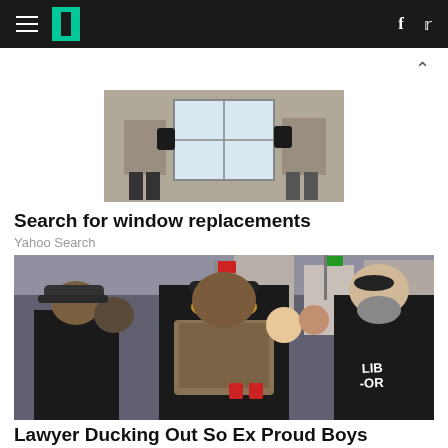HuffPost navigation bar with hamburger menu, logo, Facebook and Twitter icons
[Figure (photo): Advertisement photo showing people near a window, with text 'Search for window replacements' below]
Search for window replacements
Yahoo Search
[Figure (photo): Photo of Proud Boys members in black clothing and tactical gear at a street rally]
Lawyer Ducking Out So Ex Proud Boys